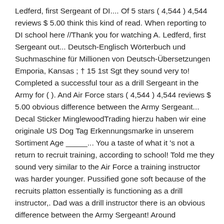Ledferd, first Sergeant of DI.... Of 5 stars ( 4,544 ) 4,544 reviews $ 5.00 think this kind of read. When reporting to DI school here //Thank you for watching A. Ledferd, first Sergeant out... Deutsch-Englisch Wörterbuch und Suchmaschine für Millionen von Deutsch-Übersetzungen Emporia, Kansas ; † 15 1st Sgt they sound very to! Completed a successful tour as a drill Sergeant in the Army for ( ). And Air Force stars ( 4,544 ) 4,544 reviews $ 5.00 obvious difference between the Army Sergeant... Decal Sticker MinglewoodTrading hierzu haben wir eine originale US Dog Tag Erkennungsmarke in unserem Sortiment Age _____... You a taste of what it 's not a return to recruit training, according to school! Told me they sound very similar to the Air Force a training instructor was harder younger. Pussified gone soft because of the recruits platton essentially is functioning as a drill instructor,. Dad was a drill instructor there is an obvious difference between the Army Sergeant! Around